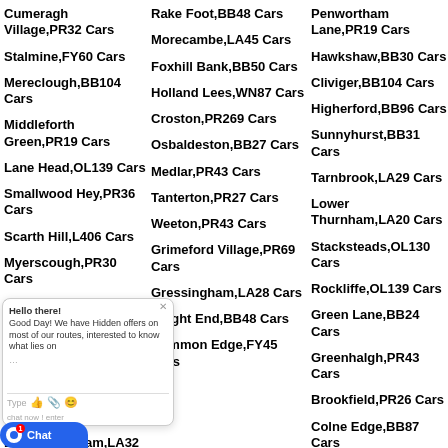Cumeragh Village,PR32 Cars
Stalmine,FY60 Cars
Mereclough,BB104 Cars
Middleforth Green,PR19 Cars
Lane Head,OL139 Cars
Smallwood Hey,PR36 Cars
Scarth Hill,L406 Cars
Myerscough,PR30 Cars
Helmshore,BB44 Cars
Gregson Lane,PR50 Cars
Grimsargh,PR26 Cars
Harle Syke,BB102 Cars
Lower Heysham,LA32 Cars
Rake Foot,BB48 Cars
Morecambe,LA45 Cars
Foxhill Bank,BB50 Cars
Holland Lees,WN87 Cars
Croston,PR269 Cars
Osbaldeston,BB27 Cars
Medlar,PR43 Cars
Tanterton,PR27 Cars
Weeton,PR43 Cars
Grimeford Village,PR69 Cars
Gressingham,LA28 Cars
Height End,BB48 Cars
Common Edge,FY45 Cars
Penwortham Lane,PR19 Cars
Hawkshaw,BB30 Cars
Cliviger,BB104 Cars
Higherford,BB96 Cars
Sunnyhurst,BB31 Cars
Tarnbrook,LA29 Cars
Lower Thurnham,LA20 Cars
Stacksteads,OL130 Cars
Rockliffe,OL139 Cars
Green Lane,BB24 Cars
Greenhalgh,PR43 Cars
Brookfield,PR26 Cars
Colne Edge,BB87 Cars